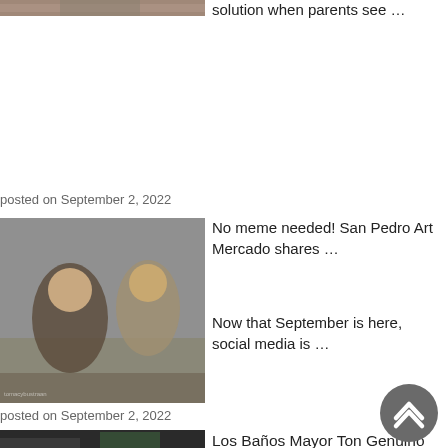[Figure (photo): Partial photo of people at top of page (cropped)]
solution when parents see …
posted on September 2, 2022
[Figure (photo): Photo of a woman and an older man sitting together, smiling, in a restaurant setting]
No meme needed! San Pedro Art Mercado shares …
Now that September is here, social media is …
posted on September 2, 2022
[Figure (photo): Partial photo showing street scene with utility poles]
Los Baños Mayor Ton Genuino